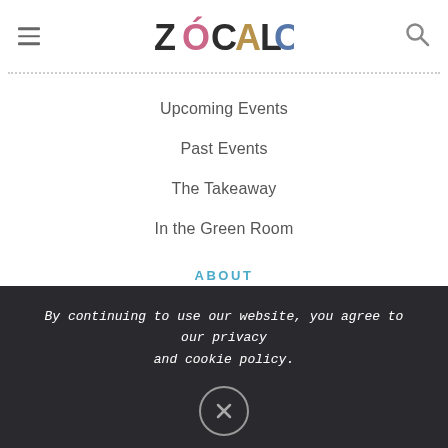Zócalo [logo] — hamburger menu and search icon
Upcoming Events
Past Events
The Takeaway
In the Green Room
ABOUT
Mission
Masthead
Board Of Trustees
Partners
By continuing to use our website, you agree to our privacy and cookie policy.